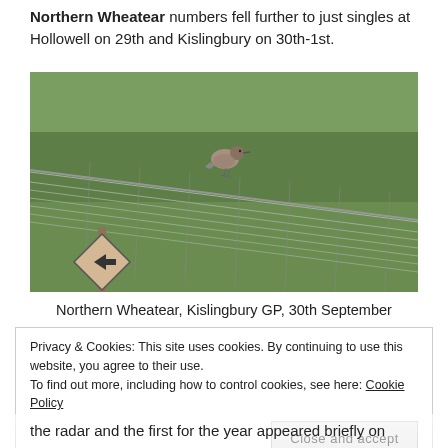Northern Wheatear numbers fell further to just singles at Hollowell on 29th and Kislingbury on 30th-1st.
[Figure (photo): A Northern Wheatear bird perched on a wire fence, with green grassy background. A diamond-shaped arrow sign is visible on a post below the bird.]
Northern Wheatear, Kislingbury GP, 30th September
Privacy & Cookies: This site uses cookies. By continuing to use this website, you agree to their use. To find out more, including how to control cookies, see here: Cookie Policy
the radar and the first for the year appeared briefly on